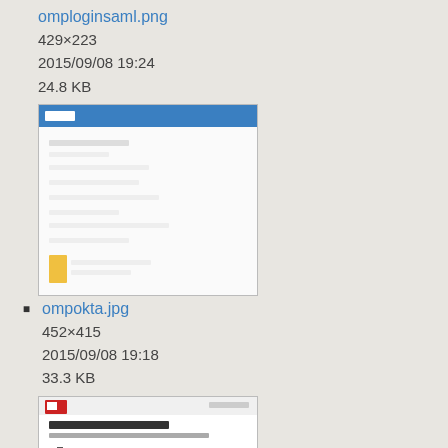omploginsaml.png
429×223
2015/09/08 19:24
24.8 KB
[Figure (screenshot): Thumbnail screenshot of omploginsaml.png showing a web interface with blue header bar]
ompokta.jpg
452×415
2015/09/08 19:18
33.3 KB
[Figure (screenshot): Thumbnail screenshot of ompokta.jpg showing iPaso Self Activation page with red logo and orange button]
ompselfactivationpage.jpg
332×310
2015/09/08 19:07
23.6 KB